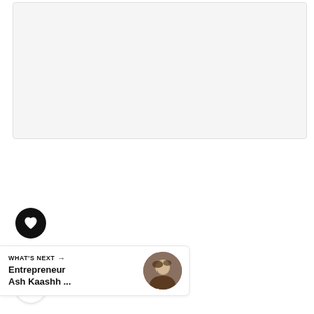[Figure (photo): Large light gray image placeholder rectangle at the top of the page]
[Figure (illustration): Heart/like button: black circle with white heart icon]
5
[Figure (illustration): Share button: white circle with share icon (branching arrows with plus)]
WHAT'S NEXT → Entrepreneur Ash Kaashh ...